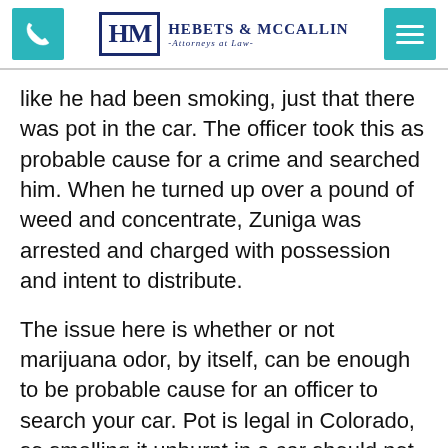Hebets & McCallin – Attorneys at Law
like he had been smoking, just that there was pot in the car. The officer took this as probable cause for a crime and searched him. When he turned up over a pound of weed and concentrate, Zuniga was arrested and charged with possession and intent to distribute.
The issue here is whether or not marijuana odor, by itself, can be enough to be probable cause for an officer to search your car. Pot is legal in Colorado, so smelling it unburnt in a car should not be an issue, and